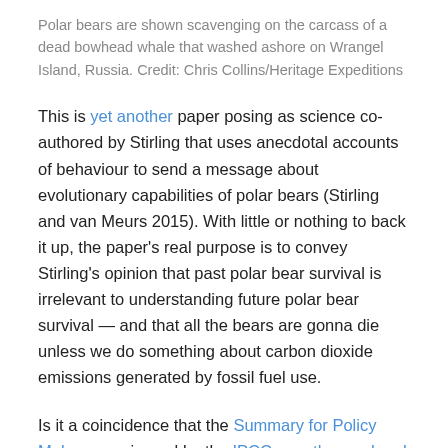Polar bears are shown scavenging on the carcass of a dead bowhead whale that washed ashore on Wrangel Island, Russia. Credit: Chris Collins/Heritage Expeditions
This is yet another paper posing as science co-authored by Stirling that uses anecdotal accounts of behaviour to send a message about evolutionary capabilities of polar bears (Stirling and van Meurs 2015). With little or nothing to back it up, the paper's real purpose is to convey Stirling's opinion that past polar bear survival is irrelevant to understanding future polar bear survival — and that all the bears are gonna die unless we do something about carbon dioxide emissions generated by fossil fuel use.
Is it a coincidence that the Summary for Policy Makers was issued by the IPCC over the weekend (not the report with the science in it but the document that all politicians